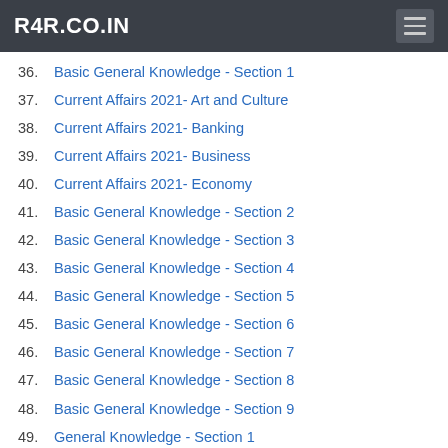R4R.CO.IN
36. Basic General Knowledge - Section 1
37. Current Affairs 2021- Art and Culture
38. Current Affairs 2021- Banking
39. Current Affairs 2021- Business
40. Current Affairs 2021- Economy
41. Basic General Knowledge - Section 2
42. Basic General Knowledge - Section 3
43. Basic General Knowledge - Section 4
44. Basic General Knowledge - Section 5
45. Basic General Knowledge - Section 6
46. Basic General Knowledge - Section 7
47. Basic General Knowledge - Section 8
48. Basic General Knowledge - Section 9
49. General Knowledge - Section 1
50. General Knowledge MCQS - Indian Culture
51. General Knowledge MCQS - World Organisations